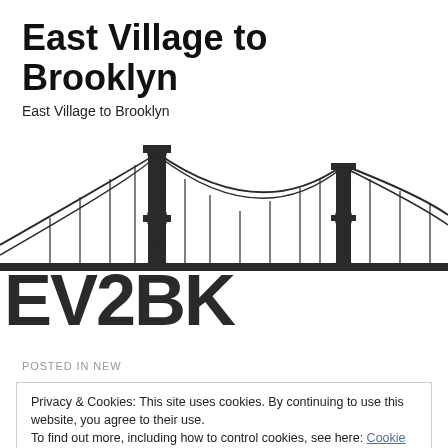East Village to Brooklyn
East Village to Brooklyn
[Figure (logo): EV2BK logo showing a suspension bridge silhouette above large stylized letters spelling EV2BK in dark/black color]
POSTED IN NEW
Privacy & Cookies: This site uses cookies. By continuing to use this website, you agree to their use.
To find out more, including how to control cookies, see here: Cookie Policy
[Close and accept]
October 2, and his EP Kauai the very next day. On